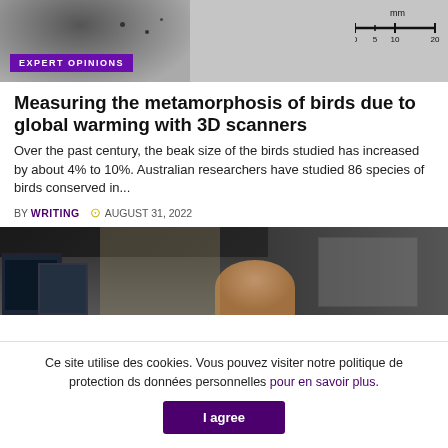[Figure (photo): Close-up photo of a bird specimen (likely a beak or body part) shown in grayscale, with a millimeter scale bar in the upper right showing 0, 5, 10, 20 mm. Purple 'EXPERT OPINIONS' badge overlaid at lower left.]
Measuring the metamorphosis of birds due to global warming with 3D scanners
Over the past century, the beak size of the birds studied has increased by about 4% to 10%. Australian researchers have studied 86 species of birds conserved in...
BY WRITING   AUGUST 31, 2022
[Figure (photo): Interior photo showing computer monitors on the left and a person (seen from behind) in a large modern room with dark-toned walls and ceiling.]
Ce site utilise des cookies. Vous pouvez visiter notre politique de protection ds données personnelles pour en savoir plus.
I agree